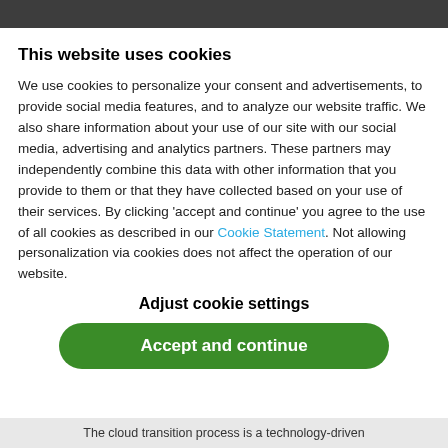This website uses cookies
We use cookies to personalize your consent and advertisements, to provide social media features, and to analyze our website traffic. We also share information about your use of our site with our social media, advertising and analytics partners. These partners may independently combine this data with other information that you provide to them or that they have collected based on your use of their services. By clicking 'accept and continue' you agree to the use of all cookies as described in our Cookie Statement. Not allowing personalization via cookies does not affect the operation of our website.
Adjust cookie settings
Accept and continue
The cloud transition process is a technology-driven